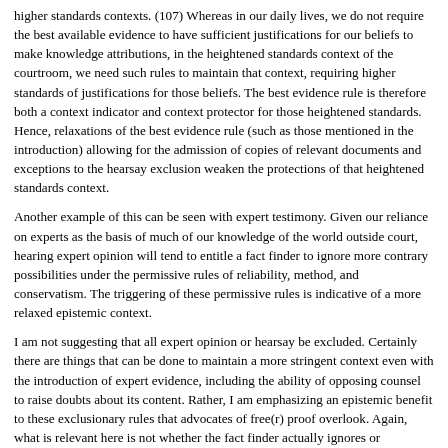higher standards contexts. (107) Whereas in our daily lives, we do not require the best available evidence to have sufficient justifications for our beliefs to make knowledge attributions, in the heightened standards context of the courtroom, we need such rules to maintain that context, requiring higher standards of justifications for those beliefs. The best evidence rule is therefore both a context indicator and context protector for those heightened standards. Hence, relaxations of the best evidence rule (such as those mentioned in the introduction) allowing for the admission of copies of relevant documents and exceptions to the hearsay exclusion weaken the protections of that heightened standards context.
Another example of this can be seen with expert testimony. Given our reliance on experts as the basis of much of our knowledge of the world outside court, hearing expert opinion will tend to entitle a fact finder to ignore more contrary possibilities under the permissive rules of reliability, method, and conservatism. The triggering of these permissive rules is indicative of a more relaxed epistemic context.
I am not suggesting that all expert opinion or hearsay be excluded. Certainly there are things that can be done to maintain a more stringent context even with the introduction of expert evidence, including the ability of opposing counsel to raise doubts about its content. Rather, I am emphasizing an epistemic benefit to these exclusionary rules that advocates of free(r) proof overlook. Again, what is relevant here is not whether the fact finder actually ignores or entertains contrary possibilities that undermine the warrant for knowledge attributions, but that evidentiary rules be designed so as to control when the fact finder has good reason to ignore or attend to them.
Hearsay is the most useful example of how this works. As a primary target